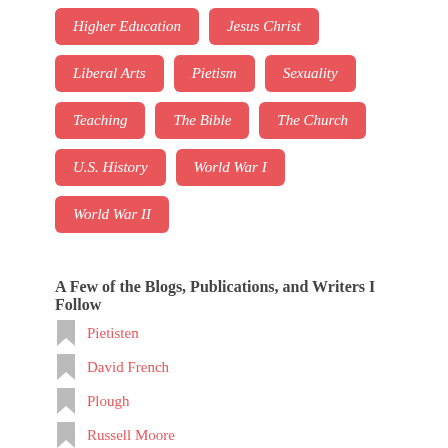Higher Education
Jesus Christ
Liberal Arts
Pietism
Sexuality
Teaching
The Bible
The Church
U.S. History
World War I
World War II
A Few of the Blogs, Publications, and Writers I Follow
Pietisten
David French
Plough
Russell Moore
Daniel Bennett
Smithsonian History